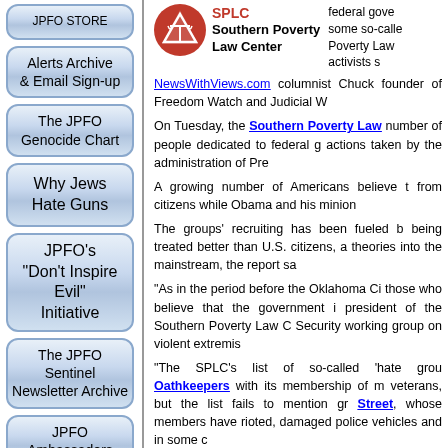JPFO STORE
Alerts Archive & Email Sign-up
The JPFO Genocide Chart
Why Jews Hate Guns
JPFO's "Don't Inspire Evil" Initiative
The JPFO Sentinel Newsletter Archive
JPFO Ambassadors
[Figure (logo): SPLC Southern Poverty Law Center logo with red triangle/scales icon]
federal gove some so-calle Poverty Law activists s
NewsWithViews.com columnist Chuck founder of Freedom Watch and Judicial W
On Tuesday, the Southern Poverty Law number of people dedicated to federal g actions taken by the administration of Pre
A growing number of Americans believe t from citizens while Obama and his minion
The groups' recruiting has been fueled b being treated better than U.S. citizens, a theories into the mainstream, the report sa
"As in the period before the Oklahoma Ci those who believe that the government i president of the Southern Poverty Law C Security working group on violent extremis
"The SPLC's list of so-called 'hate grou Oathkeepers with its membership of m veterans, but the list fails to mention gr Street, whose members have rioted, damaged police vehicles and in some c